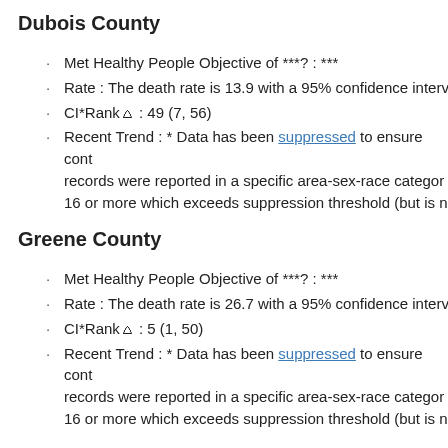Dubois County
Met Healthy People Objective of ***?: ***
Rate : The death rate is 13.9 with a 95% confidence interv…
CI*Rank⋄ : 49 (7, 56)
Recent Trend : * Data has been suppressed to ensure cont… records were reported in a specific area-sex-race categor… 16 or more which exceeds suppression threshold (but is n…
Greene County
Met Healthy People Objective of ***?: ***
Rate : The death rate is 26.7 with a 95% confidence interv…
CI*Rank⋄ : 5 (1, 50)
Recent Trend : * Data has been suppressed to ensure cont… records were reported in a specific area-sex-race categor… 16 or more which exceeds suppression threshold (but is n…
Jackson County
Met Healthy People Objective of ***?: ***